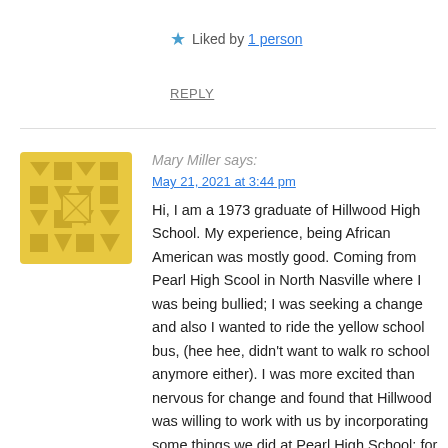★ Liked by 1 person
REPLY
Mary Miller says:
May 21, 2021 at 3:44 pm
[Figure (illustration): Yellow decorative avatar/icon with geometric pattern]
Hi, I am a 1973 graduate of Hillwood High School. My experience, being African American was mostly good. Coming from Pearl High Scool in North Nasville where I was being bullied; I was seeking a change and also I wanted to ride the yellow school bus, (hee hee, didn't want to walk ro school anymore either). I was more excited than nervous for change and found that Hillwood was willing to work with us by incorporating some things we did at Pearl High School; for instance lunch co-op where we were able to dance in the gym on Friday's at lunch; and also, I was a half timer (one of 8 dancers that performed during half time at the